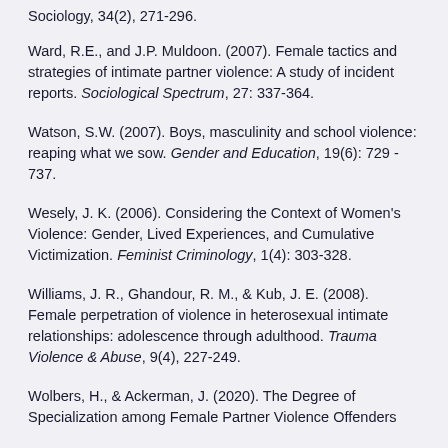Sociology, 34(2), 271-296.
Ward, R.E., and J.P. Muldoon. (2007). Female tactics and strategies of intimate partner violence: A study of incident reports. Sociological Spectrum, 27: 337-364.
Watson, S.W. (2007). Boys, masculinity and school violence: reaping what we sow. Gender and Education, 19(6): 729 - 737.
Wesely, J. K. (2006). Considering the Context of Women's Violence: Gender, Lived Experiences, and Cumulative Victimization. Feminist Criminology, 1(4): 303-328.
Williams, J. R., Ghandour, R. M., & Kub, J. E. (2008). Female perpetration of violence in heterosexual intimate relationships: adolescence through adulthood. Trauma Violence & Abuse, 9(4), 227-249.
Wolbers, H., & Ackerman, J. (2020). The Degree of Specialization among Female Partner Violence Offenders